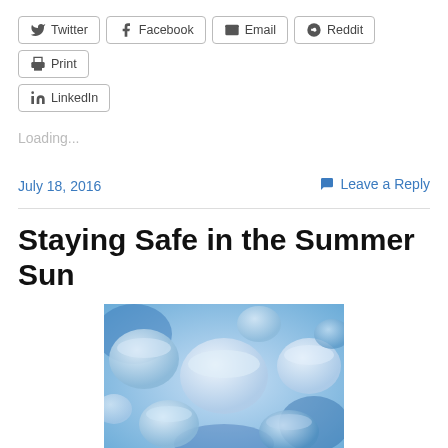[Figure (other): Social share buttons row: Twitter, Facebook, Email, Reddit, Print, LinkedIn]
Loading...
July 18, 2016
Leave a Reply
Staying Safe in the Summer Sun
[Figure (photo): Close-up photo of water bottle caps, blue and white tones]